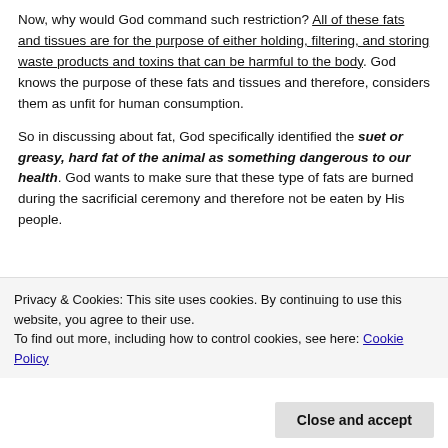Now, why would God command such restriction? All of these fats and tissues are for the purpose of either holding, filtering, and storing waste products and toxins that can be harmful to the body. God knows the purpose of these fats and tissues and therefore, considers them as unfit for human consumption.
So in discussing about fat, God specifically identified the suet or greasy, hard fat of the animal as something dangerous to our health. God wants to make sure that these type of fats are burned during the sacrificial ceremony and therefore not be eaten by His people.
Privacy & Cookies: This site uses cookies. By continuing to use this website, you agree to their use. To find out more, including how to control cookies, see here: Cookie Policy
Close and accept